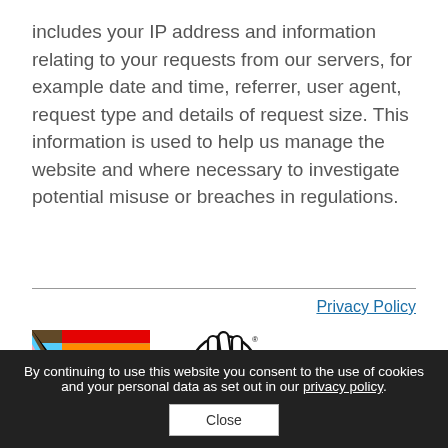includes your IP address and information relating to your requests from our servers, for example date and time, referrer, user agent, request type and details of request size. This information is used to help us manage the website and where necessary to investigate potential misuse or breaches in regulations.
Privacy Policy
[Figure (illustration): Progress Pride flag rainbow flag with chevron stripes]
[Figure (logo): National Heritage Fund logo with crossed fingers icon and text HERITAGE FUND]
By continuing to use this website you consent to the use of cookies and your personal data as set out in our privacy policy.
Close